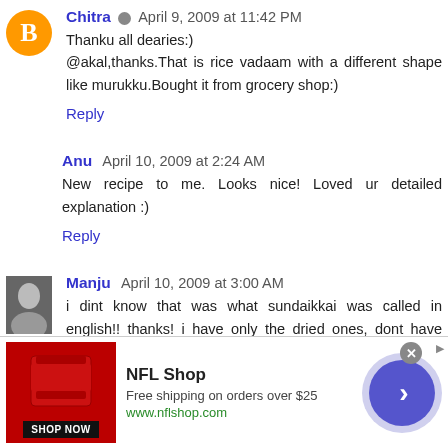Chitra  April 9, 2009 at 11:42 PM
Thanku all dearies:)
@akal,thanks.That is rice vadaam with a different shape like murukku.Bought it from grocery shop:)
Reply
Anu  April 10, 2009 at 2:24 AM
New recipe to me. Looks nice! Loved ur detailed explanation :)
Reply
Manju  April 10, 2009 at 3:00 AM
i dint know that was what sundaikkai was called in english!! thanks! i have only the dried ones, dont have fresh sundaikkai, but definitely worth a try if i got hold of some...
[Figure (infographic): NFL Shop advertisement banner with red jersey image, SHOP NOW button, NFL Shop title, Free shipping on orders over $25, www.nflshop.com, close button (x), navigation arrow circle]